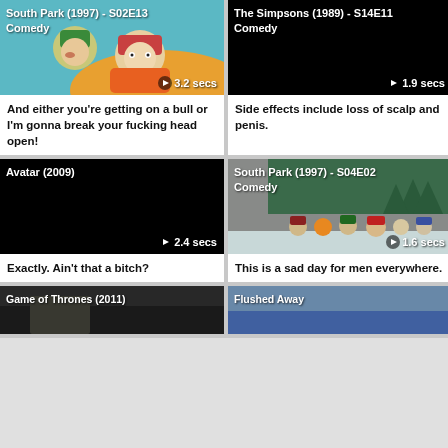[Figure (screenshot): South Park (1997) - S02E13 Comedy thumbnail, 3.2 secs]
[Figure (screenshot): The Simpsons (1989) - S14E11 Comedy thumbnail black, 1.9 secs]
And either you're getting on a bull or I'm gonna break your fucking head open!
Side effects include loss of scalp and penis.
[Figure (screenshot): Avatar (2009) thumbnail black, 2.4 secs]
[Figure (screenshot): South Park (1997) - S04E02 Comedy thumbnail, 1.6 secs]
Exactly. Ain't that a bitch?
This is a sad day for men everywhere.
[Figure (screenshot): Game of Thrones (2011) partial thumbnail]
[Figure (screenshot): Flushed Away partial thumbnail]